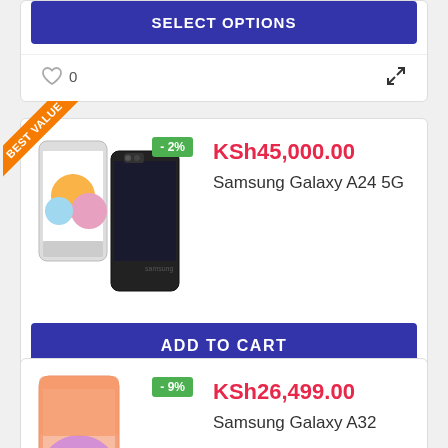[Figure (screenshot): Partial product card bottom with SELECT OPTIONS button]
0
[Figure (screenshot): Samsung Galaxy A24 5G product card with BEST VALUE ribbon and -2% badge, price KSh45,000.00]
KSh45,000.00
Samsung Galaxy A24 5G
ADD TO CART
0
[Figure (screenshot): Samsung Galaxy A32 product card with -9% badge, price KSh26,499.00]
KSh26,499.00
Samsung Galaxy A32
ADD TO CART